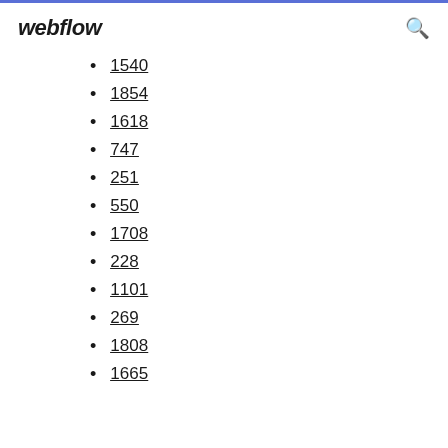webflow
1540
1854
1618
747
251
550
1708
228
1101
269
1808
1665